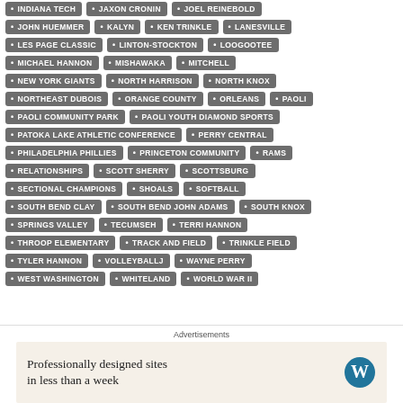INDIANA TECH • JAXON CRONIN • JOEL REINEBOLD
JOHN HUEMMER • KALYN • KEN TRINKLE • LANESVILLE
LES PAGE CLASSIC • LINTON-STOCKTON • LOOGOOTEE
MICHAEL HANNON • MISHAWAKA • MITCHELL
NEW YORK GIANTS • NORTH HARRISON • NORTH KNOX
NORTHEAST DUBOIS • ORANGE COUNTY • ORLEANS • PAOLI
PAOLI COMMUNITY PARK • PAOLI YOUTH DIAMOND SPORTS
PATOKA LAKE ATHLETIC CONFERENCE • PERRY CENTRAL
PHILADELPHIA PHILLIES • PRINCETON COMMUNITY • RAMS
RELATIONSHIPS • SCOTT SHERRY • SCOTTSBURG
SECTIONAL CHAMPIONS • SHOALS • SOFTBALL
SOUTH BEND CLAY • SOUTH BEND JOHN ADAMS • SOUTH KNOX
SPRINGS VALLEY • TECUMSEH • TERRI HANNON
THROOP ELEMENTARY • TRACK AND FIELD • TRINKLE FIELD
TYLER HANNON • VOLLEYBALLJ • WAYNE PERRY
WEST WASHINGTON • WHITELAND • WORLD WAR II
Advertisements
Professionally designed sites in less than a week